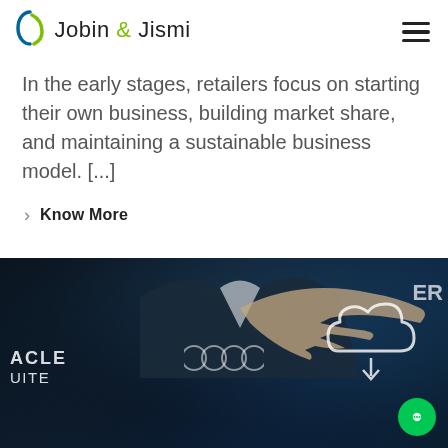Jobin & Jismi
In the early stages, retailers focus on starting their own business, building market share, and maintaining a sustainable business model. [...]
Know More
[Figure (photo): Dark background photo showing a person in a suit interacting with a cloud computing / ERP interface. Oracle NetSuite text visible on the left. A cloud icon with arrows is visible on the right side. A green chat bubble icon appears in the bottom right corner.]